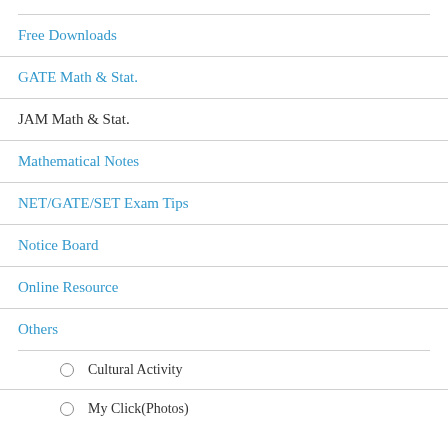Free Downloads
GATE Math & Stat.
JAM Math & Stat.
Mathematical Notes
NET/GATE/SET Exam Tips
Notice Board
Online Resource
Others
Cultural Activity
My Click(Photos)